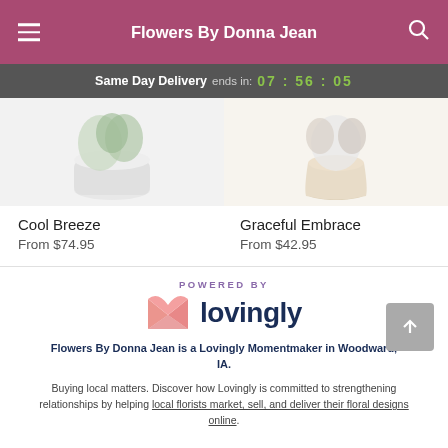Flowers By Donna Jean
Same Day Delivery ends in: 07 : 56 : 05
[Figure (photo): Product photo of Cool Breeze floral arrangement in white pot]
Cool Breeze
From $74.95
[Figure (photo): Product photo of Graceful Embrace floral arrangement in beige vase]
Graceful Embrace
From $42.95
[Figure (logo): Lovingly logo — pink heart/envelope icon with 'lovingly' in dark blue text, above text 'POWERED BY']
Flowers By Donna Jean is a Lovingly Momentmaker in Woodward, IA.
Buying local matters. Discover how Lovingly is committed to strengthening relationships by helping local florists market, sell, and deliver their floral designs online.